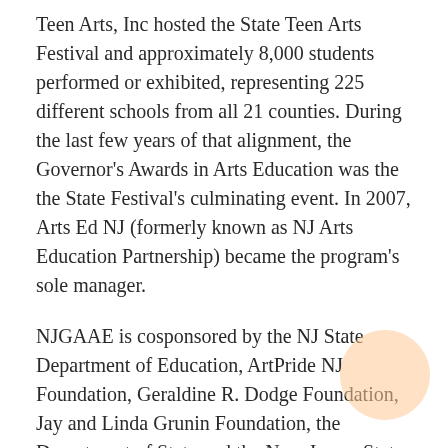Teen Arts, Inc hosted the State Teen Arts Festival and approximately 8,000 students performed or exhibited, representing 225 different schools from all 21 counties. During the last few years of that alignment, the Governor's Awards in Arts Education was the the State Festival's culminating event. In 2007, Arts Ed NJ (formerly known as NJ Arts Education Partnership) became the program's sole manager.
NJGAAE is cosponsored by the NJ State Department of Education, ArtPride NJ Foundation, Geraldine R. Dodge Foundation, Jay and Linda Grunin Foundation, the Department of State and the New Jersey State Council on the Arts.
The program is conducted in cooperation with a Planning Council of statewide organizations committed to furthering inclusion of the arts in all New Jersey's students' educational lives.